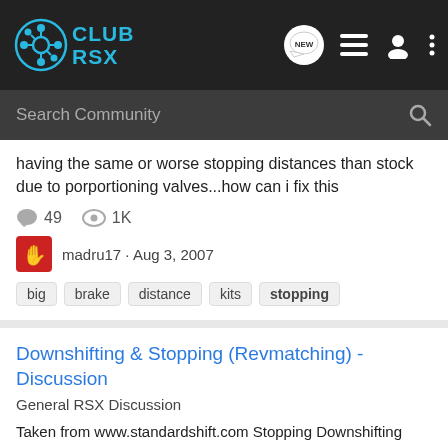Club RSX - navigation bar with logo, NEW badge, list icon, user icon, more icon
Search Community
having the same or worse stopping distances than stock due to porportioning valves...how can i fix this
49 comments, 1K views
madru17 · Aug 3, 2007
big  brake  distance  kits  stopping
Downshifting & Stopping (Revmatching) - Discussion
General RSX Discussion
Taken from www.standardshift.com Stopping Downshifting without touching the brakes to stop is not recommended, the person behind you babbling on the phone might not notice you without your brake lights on, especially at night. You can